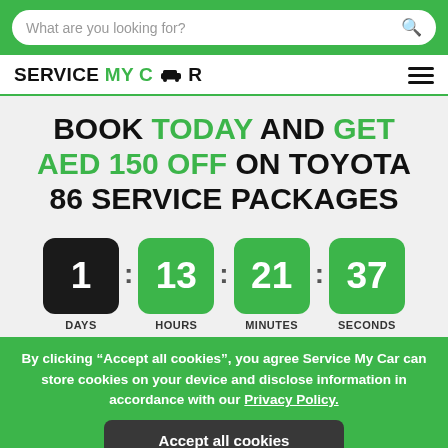What are you looking for?
SERVICE MY CAR
BOOK TODAY AND GET AED 150 OFF ON TOYOTA 86 SERVICE PACKAGES
[Figure (infographic): Countdown timer showing 1 DAYS : 13 HOURS : 21 MINUTES : 37 SECONDS]
By clicking "Accept all cookies", you agree Service My Car can store cookies on your device and disclose information in accordance with our Privacy Policy.
Accept all cookies